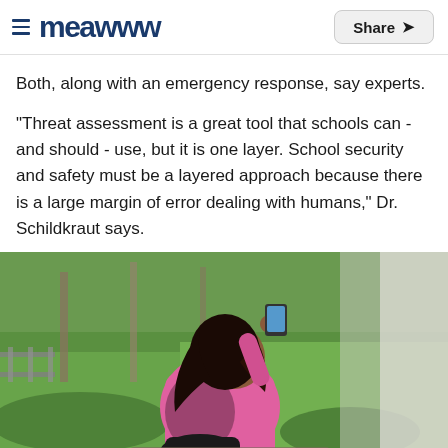≡ meawww  Share ↗
Both, along with an emergency response, say experts.
"Threat assessment is a great tool that schools can - and should - use, but it is one layer. School security and safety must be a layered approach because there is a large margin of error dealing with humans," Dr. Schildkraut says.
[Figure (photo): A young girl in a pink hoodie sitting on steps outdoors, holding up a smartphone, with green grass and trees in the background.]